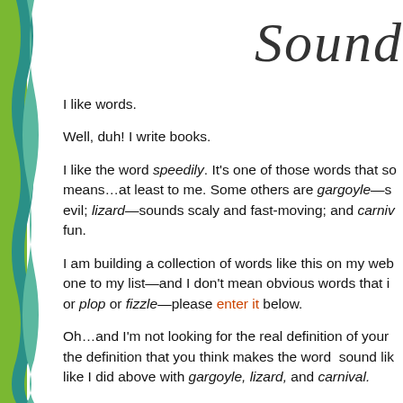Sound...
I like words.
Well, duh! I write books.
I like the word speedily. It's one of those words that sounds like what it means…at least to me. Some others are gargoyle—sounds scary and ancient and evil; lizard—sounds scaly and fast-moving; and carnival—sounds bouncy and fun.
I am building a collection of words like this on my website. If you'd like to add one to my list—and I don't mean obvious words that imitate sounds, like buzz or plop or fizzle—please enter it below.
Oh…and I'm not looking for the real definition of your word. I'm looking for the definition that you think makes the word  sound like what it means—just like I did above with gargoyle, lizard, and carnival.